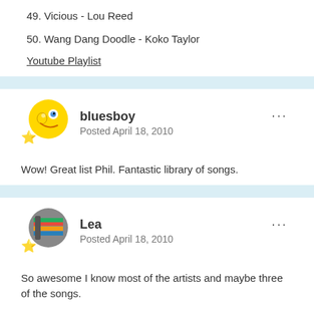49. Vicious - Lou Reed
50. Wang Dang Doodle - Koko Taylor
Youtube Playlist
bluesboy
Posted April 18, 2010
Wow! Great list Phil. Fantastic library of songs.
Lea
Posted April 18, 2010
So awesome  I know most of the artists and maybe three of the songs.